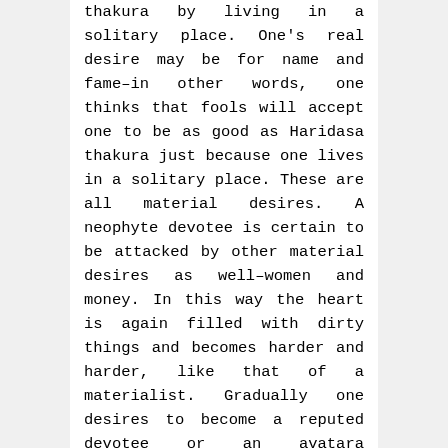thakura by living in a solitary place. One's real desire may be for name and fame–in other words, one thinks that fools will accept one to be as good as Haridasa thakura just because one lives in a solitary place. These are all material desires. A neophyte devotee is certain to be attacked by other material desires as well–women and money. In this way the heart is again filled with dirty things and becomes harder and harder, like that of a materialist. Gradually one desires to become a reputed devotee or an avatara (incarnation).